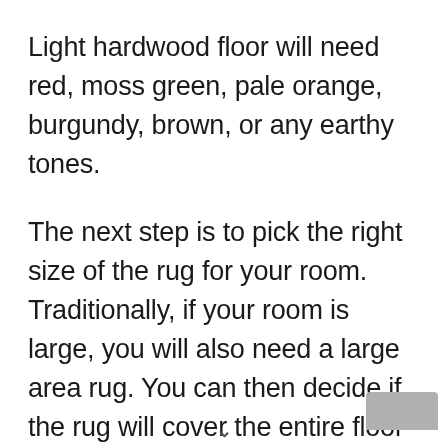Light hardwood floor will need red, moss green, pale orange, burgundy, brown, or any earthy tones.
The next step is to pick the right size of the rug for your room. Traditionally, if your room is large, you will also need a large area rug. You can then decide if the rug will cover the entire floor or just a seating area.